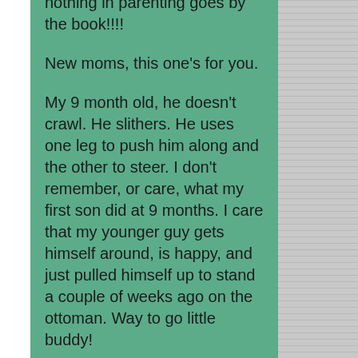nothing in parenting goes by the book!!!!
New moms, this one's for you.
My 9 month old, he doesn't crawl. He slithers. He uses one leg to push him along and the other to steer. I don't remember, or care, what my first son did at 9 months. I care that my younger guy gets himself around, is happy, and just pulled himself up to stand a couple of weeks ago on the ottoman. Way to go little buddy!
I can tell you though, there was extreme anxiety about milestones the first time around. Was he getting teeth at the right time? Was he